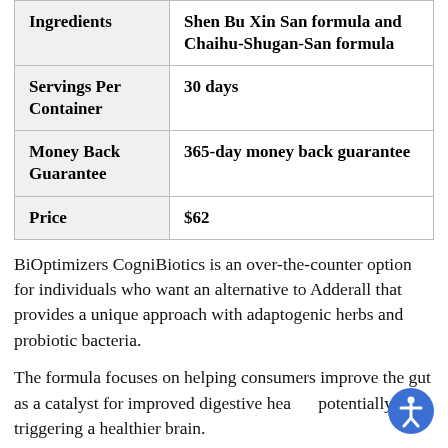| Ingredients | Shen Bu Xin San formula and Chaihu-Shugan-San formula |
| Servings Per Container | 30 days |
| Money Back Guarantee | 365-day money back guarantee |
| Price | $62 |
BiOptimizers CogniBiotics is an over-the-counter option for individuals who want an alternative to Adderall that provides a unique approach with adaptogenic herbs and probiotic bacteria.
The formula focuses on helping consumers improve the gut as a catalyst for improved digestive health, potentially triggering a healthier brain.